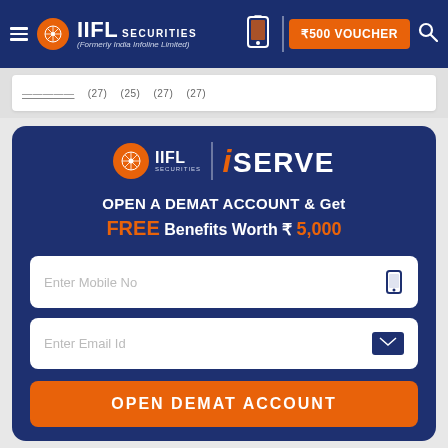IIFL SECURITIES (Formerly India Infoline Limited) | ₹500 VOUCHER
[Figure (screenshot): Partial table row with blurred/cut-off text and values in parentheses]
[Figure (logo): IIFL Securities iSERVE logo on dark blue background]
OPEN A DEMAT ACCOUNT & Get FREE Benefits Worth ₹ 5,000
Enter Mobile No
Enter Email Id
OPEN DEMAT ACCOUNT